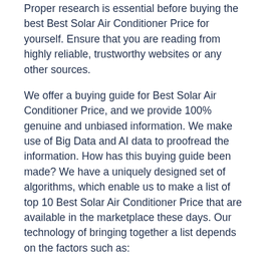Proper research is essential before buying the best Best Solar Air Conditioner Price for yourself. Ensure that you are reading from highly reliable, trustworthy websites or any other sources.
We offer a buying guide for Best Solar Air Conditioner Price, and we provide 100% genuine and unbiased information. We make use of Big Data and AI data to proofread the information. How has this buying guide been made? We have a uniquely designed set of algorithms, which enable us to make a list of top 10 Best Solar Air Conditioner Price that are available in the marketplace these days. Our technology of bringing together a list depends on the factors such as:
Brand Value
Features & Specifications
Product Value
Customer Reviews & Ratings